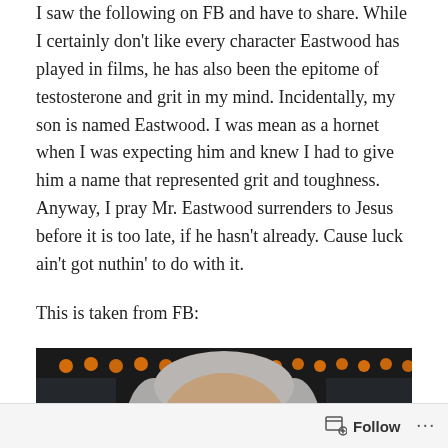I saw the following on FB and have to share. While I certainly don't like every character Eastwood has played in films, he has also been the epitome of testosterone and grit in my mind. Incidentally, my son is named Eastwood. I was mean as a hornet when I was expecting him and knew I had to give him a name that represented grit and toughness. Anyway, I pray Mr. Eastwood surrenders to Jesus before it is too late, if he hasn't already. Cause luck ain't got nuthin' to do with it.
This is taken from FB:
[Figure (photo): Close-up photo of an elderly man with silver/gray hair, facing the camera. Background shows bokeh lights (orange/yellow circular lights) and dark surroundings suggesting an event venue.]
Follow ...